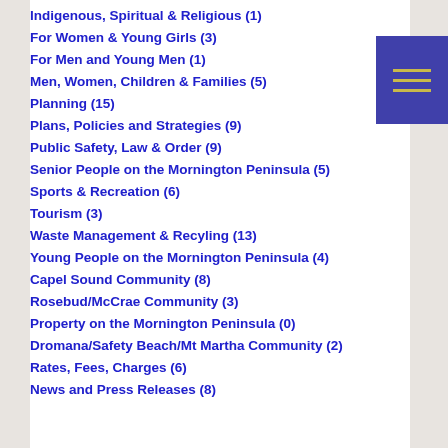Indigenous, Spiritual & Religious (1)
For Women & Young Girls (3)
For Men and Young Men (1)
Men, Women, Children & Families (5)
Planning (15)
Plans, Policies and Strategies (9)
Public Safety, Law & Order (9)
Senior People on the Mornington Peninsula (5)
Sports & Recreation (6)
Tourism (3)
Waste Management & Recyling (13)
Young People on the Mornington Peninsula (4)
Capel Sound Community (8)
Rosebud/McCrae Community (3)
Property on the Mornington Peninsula (0)
Dromana/Safety Beach/Mt Martha Community (2)
Rates, Fees, Charges (6)
News and Press Releases (8)